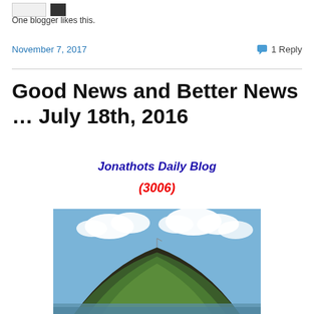One blogger likes this.
November 7, 2017   1 Reply
Good News and Better News … July 18th, 2016
Jonathots Daily Blog
(3006)
[Figure (photo): A green tree-covered mountain under a partly cloudy sky with water in the foreground]